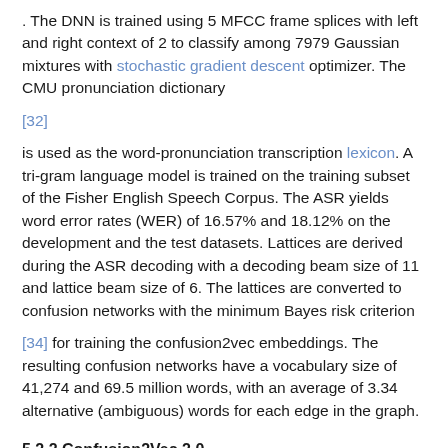. The DNN is trained using 5 MFCC frame splices with left and right context of 2 to classify among 7979 Gaussian mixtures with stochastic gradient descent optimizer. The CMU pronunciation dictionary
[32]
is used as the word-pronunciation transcription lexicon. A tri-gram language model is trained on the training subset of the Fisher English Speech Corpus. The ASR yields word error rates (WER) of 16.57% and 18.12% on the development and the test datasets. Lattices are derived during the ASR decoding with a decoding beam size of 11 and lattice beam size of 6. The lattices are converted to confusion networks with the minimum Bayes risk criterion
[34] for training the confusion2vec embeddings. The resulting confusion networks have a vocabulary size of 41,274 and 69.5 million words, with an average of 3.34 alternative (ambiguous) words for each edge in the graph.
5.2.2 Confusion2Vec 2.0